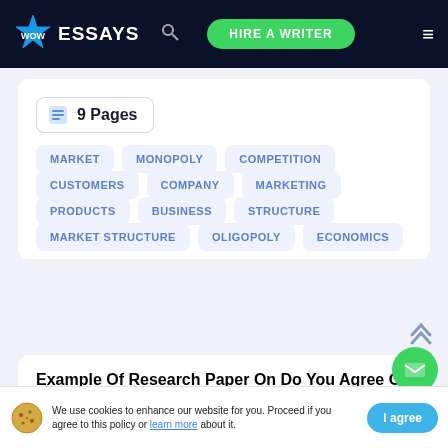WOW ESSAYS — HIRE A WRITER
9 Pages
MARKET
MONOPOLY
COMPETITION
CUSTOMERS
COMPANY
MARKETING
PRODUCTS
BUSINESS
STRUCTURE
MARKET STRUCTURE
OLIGOPOLY
ECONOMICS
Example Of Research Paper On Do You Agree Or Disagree With Jared Diamond
We use cookies to enhance our website for you. Proceed if you agree to this policy or learn more about it.